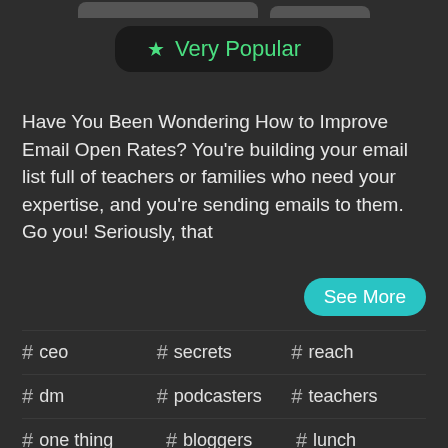[Figure (screenshot): Cropped top portion showing two dark rounded button shapes partially visible at top edge]
★ Very Popular
Have You Been Wondering How to Improve Email Open Rates? You're building your email list full of teachers or families who need your expertise, and you're sending emails to them. Go you! Seriously, that
See More
# ceo
# secrets
# reach
# dm
# podcasters
# teachers
# one thing
# bloggers
# lunch
# unlocking
# ratings
# map
# email marketing
amy porterfield